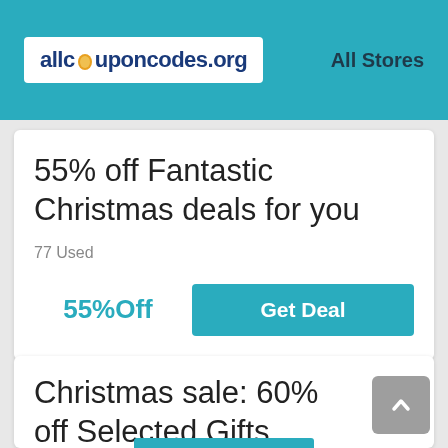allcouponcodes.org  All Stores
55% off Fantastic Christmas deals for you
77 Used
55%Off  Get Deal
Christmas sale: 60% off Selected Gifts
9 Used